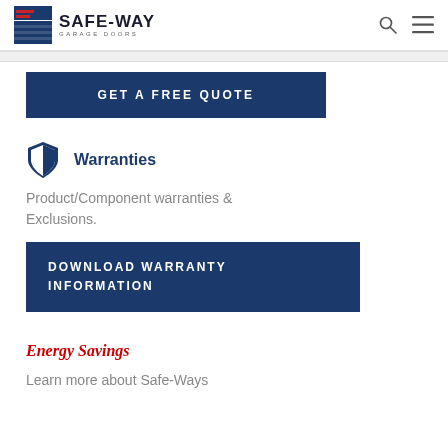SAFE-WAY GARAGE DOORS
GET A FREE QUOTE
Warranties
Product/Component warranties & Exclusions.
DOWNLOAD WARRANTY INFORMATION
Energy Savings
Learn more about Safe-Ways